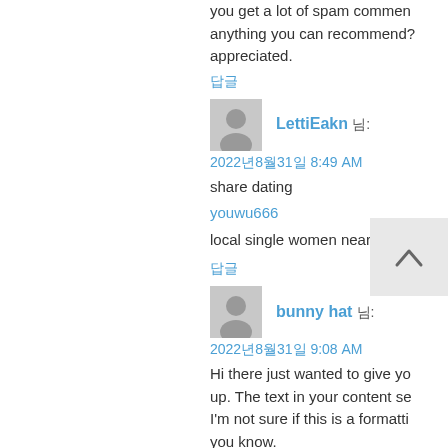you get a lot of spam comments? If so how do you prevent it, anything you can recommend? I get so much lately it's really driving me mad so any assistance is very much appreciated.
답글
LettiEakn 님: 2022년8월31일 8:49 AM
share dating
youwu666
local single women near me
답글
bunny hat 님: 2022년8월31일 9:08 AM
Hi there just wanted to give you a quick heads up. The text in your content seems to be running off the screen in Safari. I'm not sure if this is a formatting issue or something to do with web browser compatibility but I thought I'd post to let you know. The style and design look great though! Hope you get the problem solved soon.
답글
Gel pens 님: